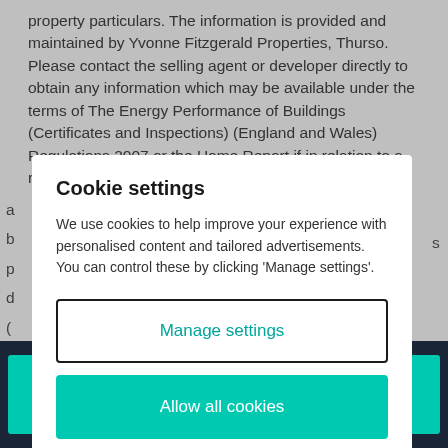property particulars. The information is provided and maintained by Yvonne Fitzgerald Properties, Thurso. Please contact the selling agent or developer directly to obtain any information which may be available under the terms of The Energy Performance of Buildings (Certificates and Inspections) (England and Wales) Regulations 2007 or the Home Report if in relation to a residential property in Scotland.
Cookie settings
We use cookies to help improve your experience with personalised content and tailored advertisements. You can control these by clicking 'Manage settings'.
Manage settings
Allow all cookies
Email agent
Call agent